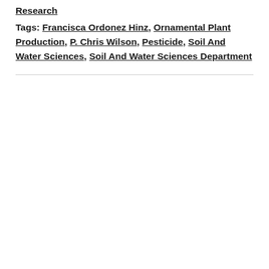Research
Tags: Francisca Ordonez Hinz, Ornamental Plant Production, P. Chris Wilson, Pesticide, Soil And Water Sciences, Soil And Water Sciences Department